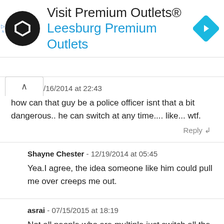[Figure (screenshot): Advertisement banner for Visit Premium Outlets® / Leesburg Premium Outlets with circular logo and blue diamond navigation icon]
carls - 11/16/2014 at 22:43
how can that guy be a police officer isnt that a bit dangerous.. he can switch at any time.... like... wtf.
Reply
Shayne Chester - 12/19/2014 at 05:45
Yea.I agree, the idea someone like him could pull me over creeps me out.
asrai - 07/15/2015 at 18:19
Not all people who are multiple just switch all the time, or even lose time.